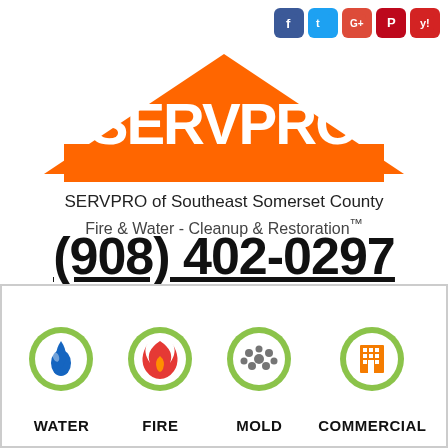[Figure (logo): Social media icons: Facebook, Twitter, Google+, Pinterest, Yelp]
[Figure (logo): SERVPRO logo: orange house/roof shape with SERVPRO text in white]
SERVPRO of Southeast Somerset County
Fire & Water - Cleanup & Restoration™
(908) 402-0297
[Figure (infographic): Computer monitor icon with green screen next to REQUEST HELP ONLINE text and green hamburger menu button]
[Figure (infographic): Four service icons: WATER (blue water drop), FIRE (red flame), MOLD (gray bubbles), COMMERCIAL (orange building), all in green location pin shapes]